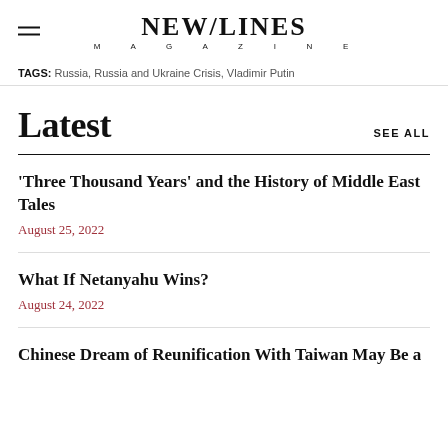NEW/LINES MAGAZINE
TAGS: Russia, Russia and Ukraine Crisis, Vladimir Putin
Latest
SEE ALL
'Three Thousand Years' and the History of Middle East Tales
August 25, 2022
What If Netanyahu Wins?
August 24, 2022
Chinese Dream of Reunification With Taiwan May Be a